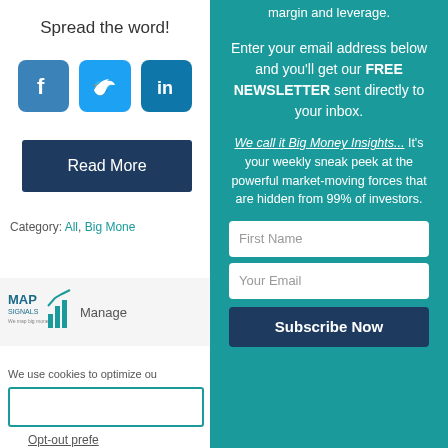Spread the word!
[Figure (illustration): Facebook, Twitter, and LinkedIn social media icons in blue/teal rounded squares]
Read More
Category: All, Big Money...
[Figure (logo): MAP Signals logo with teal bar chart icon and text 'MAP SIGNALS - We map big money']
Manage
We use cookies to optimize ou...
Opt-out prefe...
margin and leverage.
Enter your email address below and you'll get our FREE NEWSLETTER sent directly to your inbox.
We call it Big Money Insights... It's your weekly sneak peek at the powerful market-moving forces that are hidden from 99% of investors.
First Name
Your Email
Subscribe Now